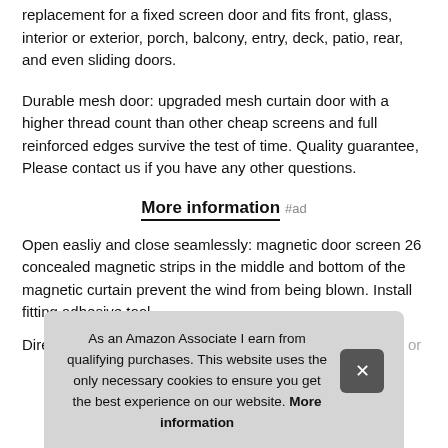replacement for a fixed screen door and fits front, glass, interior or exterior, porch, balcony, entry, deck, patio, rear, and even sliding doors.
Durable mesh door: upgraded mesh curtain door with a higher thread count than other cheap screens and full reinforced edges survive the test of time. Quality guarantee, Please contact us if you have any other questions.
More information #ad
Open easliy and close seamlessly: magnetic door screen 26 concealed magnetic strips in the middle and bottom of the magnetic curtain prevent the wind from being blown. Install fitting adhesive tool
Directly walk through magnet screen no matter for human or
As an Amazon Associate I earn from qualifying purchases. This website uses the only necessary cookies to ensure you get the best experience on our website. More information